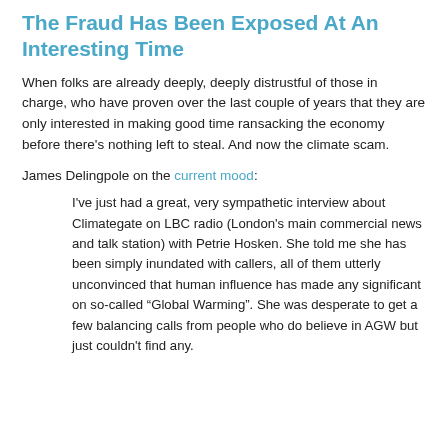The Fraud Has Been Exposed At An Interesting Time
When folks are already deeply, deeply distrustful of those in charge, who have proven over the last couple of years that they are only interested in making good time ransacking the economy before there's nothing left to steal. And now the climate scam.
James Delingpole on the current mood:
I've just had a great, very sympathetic interview about Climategate on LBC radio (London's main commercial news and talk station) with Petrie Hosken. She told me she has been simply inundated with callers, all of them utterly unconvinced that human influence has made any significant on so-called “Global Warming”. She was desperate to get a few balancing calls from people who do believe in AGW but just couldn't find any.